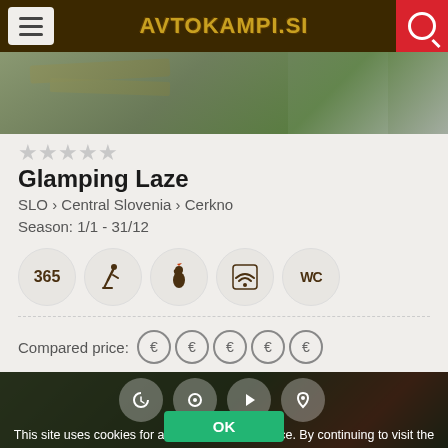AVTOKAMPI.SI
[Figure (photo): Outdoor wooden structure with beams and wall, green grass in background]
★★★★★
Glamping Laze
SLO › Central Slovenia › Cerkno
Season: 1/1 - 31/12
[Figure (infographic): Amenity icons: 365, skier, rooster/farm, WiFi, WC]
Compared price: € € € € €
[Figure (photo): Aerial view of camping area with buildings and green surroundings]
This site uses cookies for a better user experience. By continuing to visit the site, you agree to use them. More...
OK